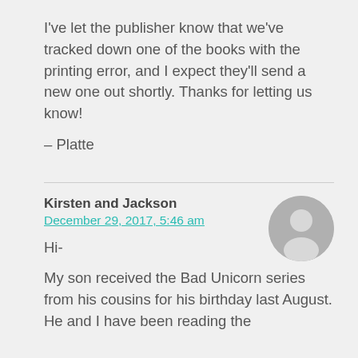I've let the publisher know that we've tracked down one of the books with the printing error, and I expect they'll send a new one out shortly. Thanks for letting us know!
– Platte
Kirsten and Jackson
December 29, 2017, 5:46 am
[Figure (illustration): Generic user avatar — a circular grey silhouette of a person]
Hi-
My son received the Bad Unicorn series from his cousins for his birthday last August. He and I have been reading the